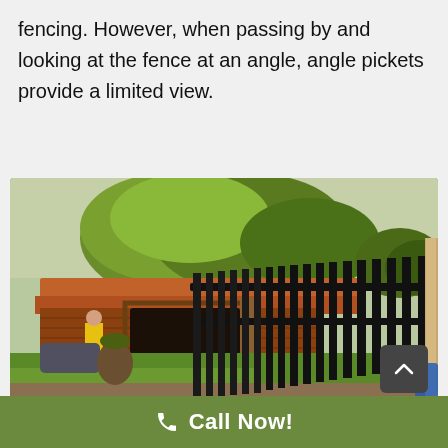fencing. However, when passing by and looking at the fence at an angle, angle pickets provide a limited view.
[Figure (photo): Photo of a black metal picket fence in front of a brick house with a large tree, green grass lawn, and a person visible in the background near a vehicle.]
Call Now!